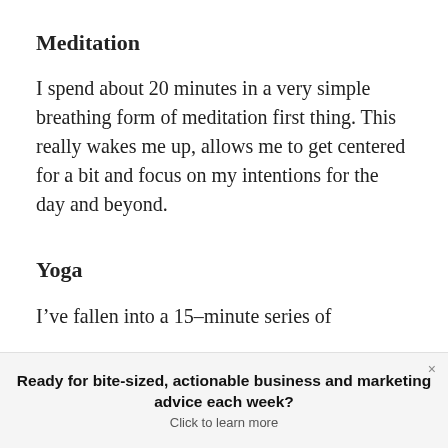Meditation
I spend about 20 minutes in a very simple breathing form of meditation first thing. This really wakes me up, allows me to get centered for a bit and focus on my intentions for the day and beyond.
Yoga
I’ve fallen into a 15–minute series of
Ready for bite-sized, actionable business and marketing advice each week?
Click to learn more